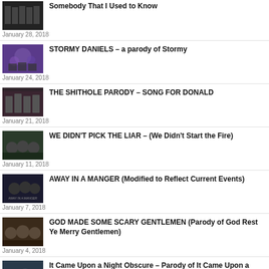Somebody That I Used to Know — January 28, 2018
STORMY DANIELS – a parody of Stormy — January 24, 2018
THE SHITHOLE PARODY – SONG FOR DONALD — January 21, 2018
WE DIDN'T PICK THE LIAR – (We Didn't Start the Fire) — January 11, 2018
AWAY IN A MANGER (Modified to Reflect Current Events) — January 7, 2018
GOD MADE SOME SCARY GENTLEMEN (Parody of God Rest Ye Merry Gentlemen) — January 4, 2018
It Came Upon a Night Obscure – Parody of It Came Upon a Midnight Clear